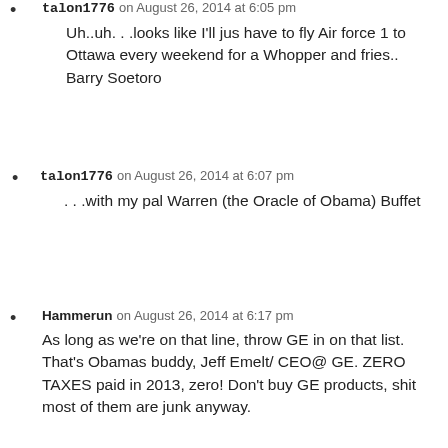talon1776 on August 26, 2014 at 6:05 pm
Uh..uh. . .looks like I'll jus have to fly Air force 1 to Ottawa every weekend for a Whopper and fries..
Barry Soetoro
talon1776 on August 26, 2014 at 6:07 pm
. . .with my pal Warren (the Oracle of Obama) Buffet
Hammerun on August 26, 2014 at 6:17 pm
As long as we're on that line, throw GE in on that list. That's Obamas buddy, Jeff Emelt/ CEO@ GE. ZERO TAXES paid in 2013, zero! Don't buy GE products, shit most of them are junk anyway.